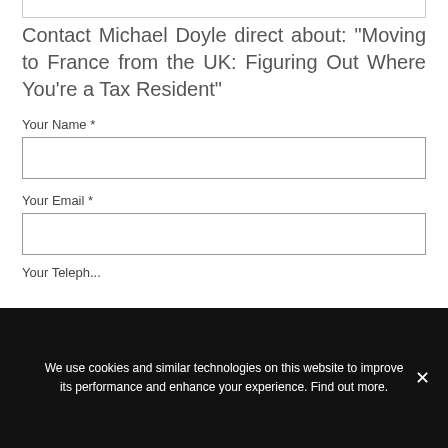Contact Michael Doyle direct about: "Moving to France from the UK: Figuring Out Where You're a Tax Resident"
Your Name *
Your Email *
Your Teleph...
We use cookies and similar technologies on this website to improve its performance and enhance your experience. Find out more.